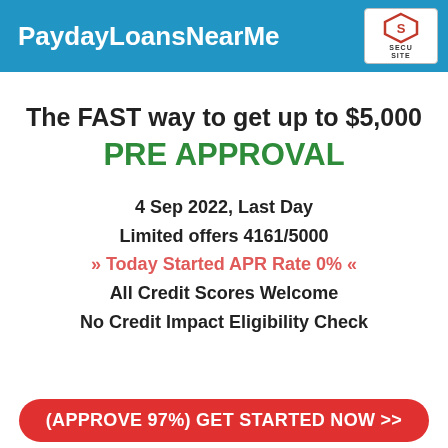PaydayLoansNearMe
The FAST way to get up to $5,000
PRE APPROVAL
4 Sep 2022, Last Day
Limited offers 4161/5000
» Today Started APR Rate 0% «
All Credit Scores Welcome
No Credit Impact Eligibility Check
(APPROVE 97%) GET STARTED NOW >>